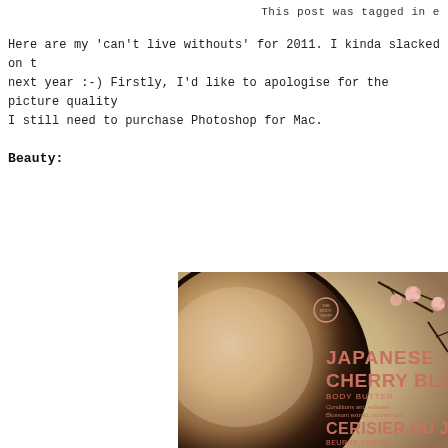This post was tagged in e
Here are my 'can't live withouts' for 2011. I kinda slacked on t next year :-) Firstly, I'd like to apologise for the picture quality I still need to purchase Photoshop for Mac.
Beauty:
[Figure (photo): A photo of The Body Shop Japanese Cherry Blossom Body Butter tin, showing the pink and dark circular tin with cherry blossom flower decoration and text reading 'JAPANESE CHERRY BLOSSOM BODY BUTTER' and 'CERISIER DU JAPON BEURRE CORPS']